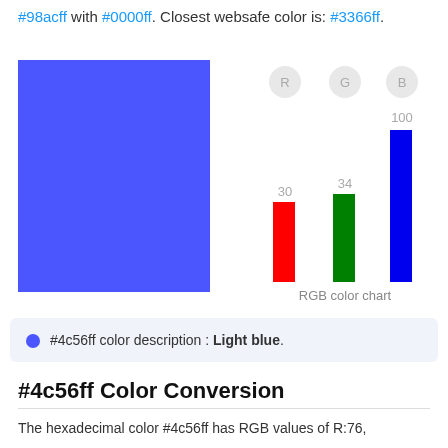#98acff with #0000ff. Closest websafe color is: #3366ff.
[Figure (bar-chart): RGB color chart]
#4c56ff color description : Light blue.
#4c56ff Color Conversion
The hexadecimal color #4c56ff has RGB values of R:76,